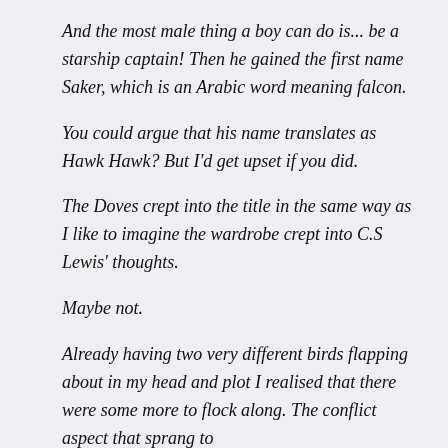And the most male thing a boy can do is... be a starship captain! Then he gained the first name Saker, which is an Arabic word meaning falcon.
You could argue that his name translates as Hawk Hawk? But I'd get upset if you did.
The Doves crept into the title in the same way as I like to imagine the wardrobe crept into C.S Lewis' thoughts.
Maybe not.
Already having two very different birds flapping about in my head and plot I realised that there were some more to flock along. The conflict aspect that sprang to